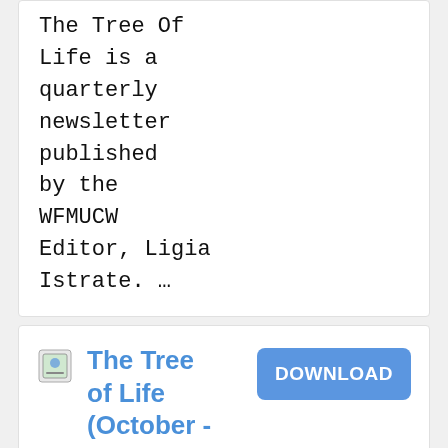The Tree Of Life is a quarterly newsletter published by the WFMUCW Editor, Ligia Istrate. ...
The Tree of Life (October - December 2017)
Updated January 16